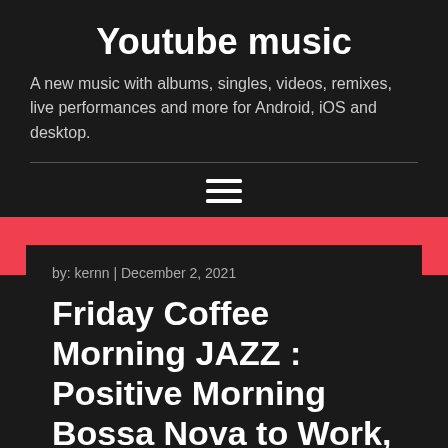Youtube music
A new music with albums, singles, videos, remixes, live performances and more for Android, iOS and desktop.
[Figure (other): Hamburger menu icon (three horizontal lines)]
by: kernn | December 2, 2021
Friday Coffee Morning JAZZ : Positive Morning Bossa Nova to Work, Cafe, Good